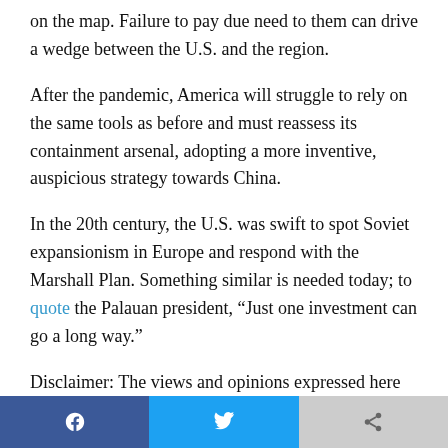on the map. Failure to pay due need to them can drive a wedge between the U.S. and the region.
After the pandemic, America will struggle to rely on the same tools as before and must reassess its containment arsenal, adopting a more inventive, auspicious strategy towards China.
In the 20th century, the U.S. was swift to spot Soviet expansionism in Europe and respond with the Marshall Plan. Something similar is needed today; to quote the Palauan president, “Just one investment can go a long way.”
Disclaimer: The views and opinions expressed here are those of the author and do not necessarily reflect the editorial position of The Globe Post.
[Figure (other): Social sharing buttons: Facebook, Twitter, and a third platform]